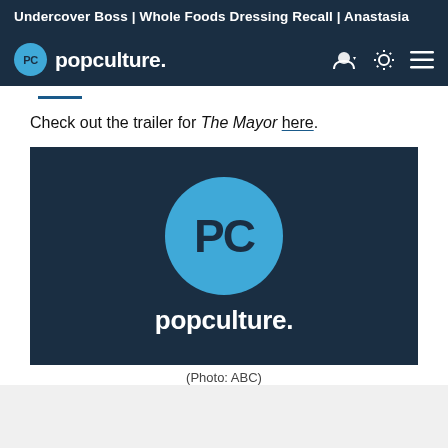Undercover Boss | Whole Foods Dressing Recall | Anastasia
[Figure (logo): PopCulture.com navigation bar with PC logo badge and popculture. wordmark, plus user icon, theme toggle, and hamburger menu icons]
Check out the trailer for The Mayor here.
[Figure (logo): PopCulture.com brand image on dark navy background: large blue circle with PC text and 'popculture.' wordmark below]
(Photo: ABC)